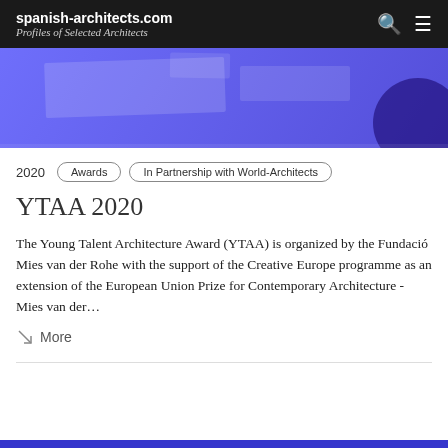spanish-architects.com — Profiles of Selected Architects
[Figure (photo): Blue-tinted hero image showing an architectural studio desk with blueprints and models]
2020   Awards   In Partnership with World-Architects
YTAA 2020
The Young Talent Architecture Award (YTAA) is organized by the Fundació Mies van der Rohe with the support of the Creative Europe programme as an extension of the European Union Prize for Contemporary Architecture - Mies van der...
More